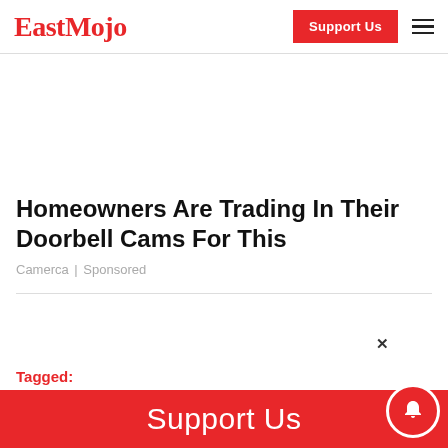EastMojo
[Figure (screenshot): Advertisement placeholder area (blank white space)]
Homeowners Are Trading In Their Doorbell Cams For This
Camerca | Sponsored
Tagged: Assam by polls  Assam Bypolls  Assam bypolls counting  Assam Election
Support Us